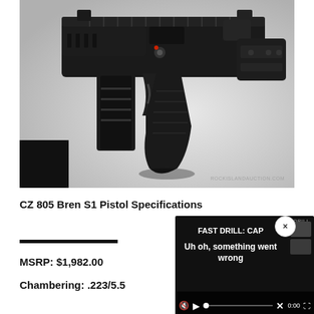[Figure (photo): Close-up photo of a CZ 805 Bren S1 Pistol (black firearm) showing the grip, trigger, and receiver area, on a white/grey gradient background.]
CZ 805 Bren S1 Pistol Specifications
[Figure (screenshot): Video player overlay with dark background showing 'FAST DRILL: CAP' at top right, 'FAST DRILL' background text, error message 'Uh oh, something went wrong', muted speaker icon, X close button, play button, progress bar with dot, 0:00 time, and fullscreen button. Two dark thumbnail boxes visible on right.]
MSRP:  $1,982.00
Chambering:  .223/5.5